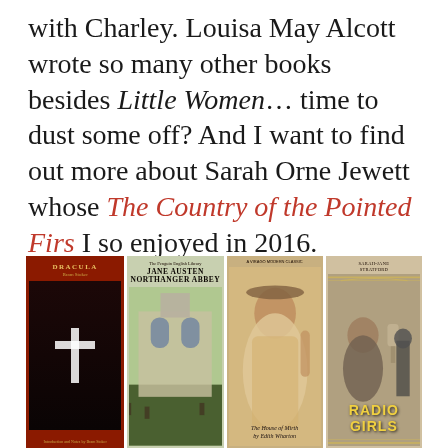with Charley. Louisa May Alcott wrote so many other books besides Little Women... time to dust some off? And I want to find out more about Sarah Orne Jewett whose The Country of the Pointed Firs I so enjoyed in 2016.
[Figure (photo): Four book covers side by side: Dracula by Bram Stoker (red/dark cover with white cross), Northanger Abbey by Jane Austen (watercolor painting of a cathedral), The House of Mirth by Edith Wharton (figure of a woman in period dress), and Radio Girls (art deco style cover with the title prominently displayed)]